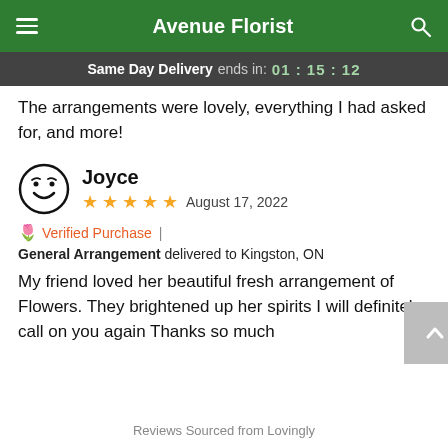Avenue Florist
Same Day Delivery ends in: 01:15:12
The arrangements were lovely, everything I had asked for, and more!
Joyce
★★★★★ August 17, 2022
Verified Purchase | General Arrangement delivered to Kingston, ON
My friend loved her beautiful fresh arrangement of Flowers. They brightened up her spirits I will definitely call on you again Thanks so much
Reviews Sourced from Lovingly